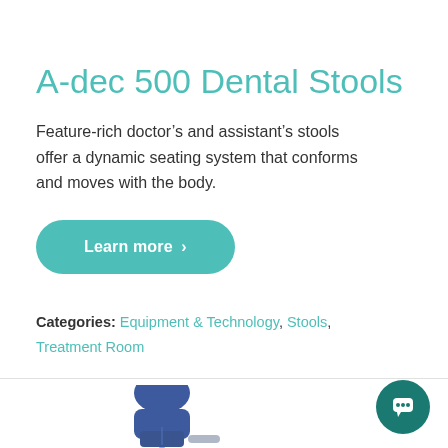A-dec 500 Dental Stools
Feature-rich doctor’s and assistant’s stools offer a dynamic seating system that conforms and moves with the body.
Learn more ›
Categories: Equipment & Technology, Stools, Treatment Room
[Figure (illustration): Partial view of a blue dental chair/stool with headrest, upholstered in dark blue, with a gray leg support visible at the bottom right. A dark teal circular chat button is visible at the bottom right corner of the page.]